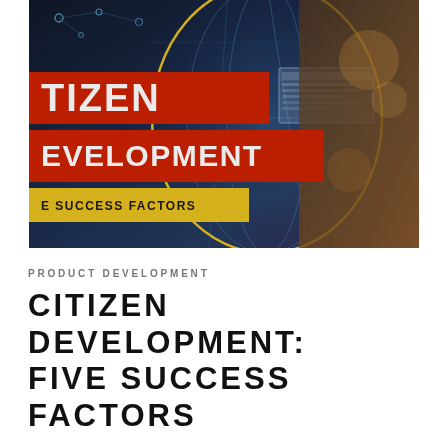[Figure (photo): Dark technology-themed banner image showing 'CITIZEN DEVELOPMENT' text on red banners, 'FIVE SUCCESS FACTORS' on a yellow banner, a holographic globe wireframe, network dots, and a person in the background working at a screen.]
PRODUCT DEVELOPMENT
CITIZEN DEVELOPMENT: FIVE SUCCESS FACTORS